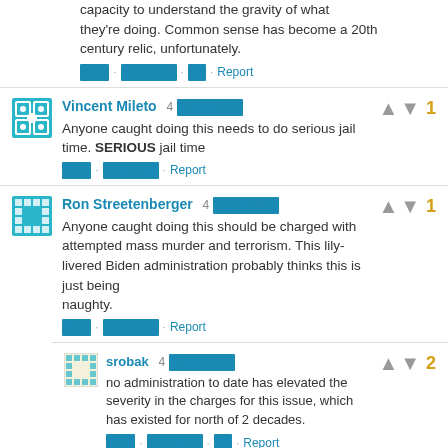capacity to understand the gravity of what they're doing. Common sense has become a 20th century relic, unfortunately.
Report
Vincent Mileto 4 [redacted] - Anyone caught doing this needs to do serious jail time. SERIOUS jail time
Report
Ron Streetenberger 4 [redacted] - Anyone caught doing this should be charged with attempted mass murder and terrorism. This lily-livered Biden administration probably thinks this is just being naughty.
Report
srobak 4 [redacted] - no administration to date has elevated the severity in the charges for this issue, which has existed for north of 2 decades.
Report
Ron Streetenberger 4 [redacted] - You are correct sir. That is why it's so damn hard to vote. I'm a Korea